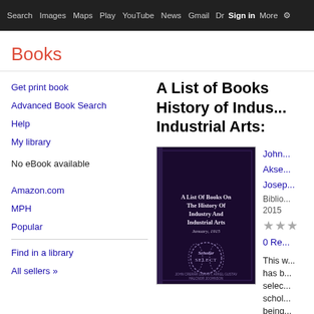Search  Images  Maps  Play  YouTube  News  Gmail  Drive  More  Sign in
Books
A List of Books on the History of Industry and Industrial Arts:
Get print book
Advanced Book Search
Help
My library
No eBook available
Amazon.com
MPH
Popular
Find in a library
All sellers »
[Figure (photo): Book cover: A List Of Books On The History Of Industry And Industrial Arts, January 1915, Scholar Select]
John... Akse... Josep...
Biblio... 2015
0 Re...
This w... has b... selec... schol... being...